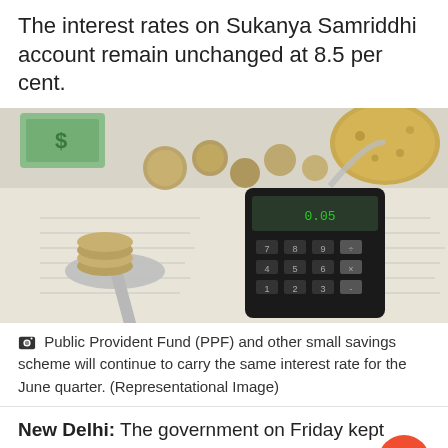The interest rates on Sukanya Samriddhi account remain unchanged at 8.5 per cent.
[Figure (photo): A photo showing coins stacked on a spoon balancing a calculator, with currency notes and financial documents in the background, and a potato on the other side of the scale — a representational image about savings and interest rates.]
Public Provident Fund (PPF) and other small savings scheme will continue to carry the same interest rate for the June quarter. (Representational Image)
New Delhi: The government on Friday kept interest rates of public provident fund